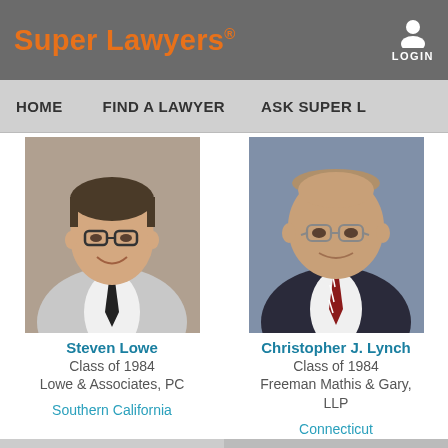Super Lawyers®
LOGIN
HOME  FIND A LAWYER  ASK SUPER L...
[Figure (photo): Professional headshot of Steven Lowe, a man in a grey suit with dark tie and glasses, smiling]
Steven Lowe
Class of 1984
Lowe & Associates, PC
Southern California
[Figure (photo): Professional headshot of Christopher J. Lynch, a man in a dark suit with red striped tie and glasses, smiling]
Christopher J. Lynch
Class of 1984
Freeman Mathis & Gary, LLP
Connecticut